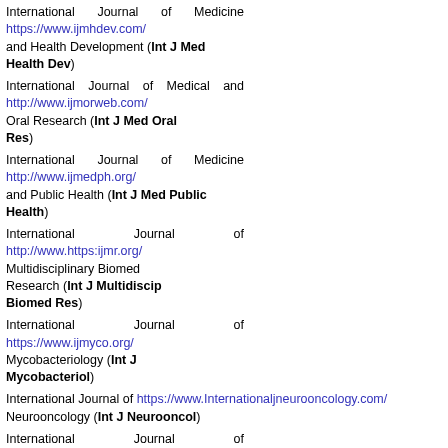International Journal of Medicine and Health Development (Int J Med Health Dev) https://www.ijmhdev.com/
International Journal of Medical and Oral Research (Int J Med Oral Res) http://www.ijmorweb.com/
International Journal of Medicine and Public Health (Int J Med Public Health) http://www.ijmedph.org/
International Journal of Multidisciplinary Biomed Research (Int J Multidiscip Biomed Res) http://www.https:ijmr.org/
International Journal of Mycobacteriology (Int J Mycobacteriol) https://www.ijmyco.org/
International Journal of Neurooncology (Int J Neurooncol) https://www.Internationaljneurooncology.com/
International Journal of Noncommunicable Diseases (Int J Non-Commun Dis) https://www.ijncd.org/
International Journal of Nutrition, Pharmacology, Neurological Diseases (Int J Nutr Pharmacol Neurol Dis) https://www.ijnpnd.com/